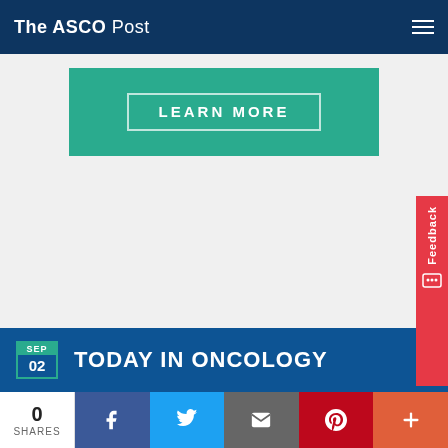The ASCO Post
[Figure (screenshot): Green banner with 'LEARN MORE' button text]
[Figure (screenshot): Feedback tab on right side in red]
SEP 02 TODAY IN ONCOLOGY
New Cervicovaginal Epigenetic Test for Screening of Suspected Endometrial Cancer
Durability of Responses to BCMA CAR T-Cell Therapy in Patients With Multiple Myeloma May Depend on Specific Components of the Tumor Microenvironment
0 SHARES